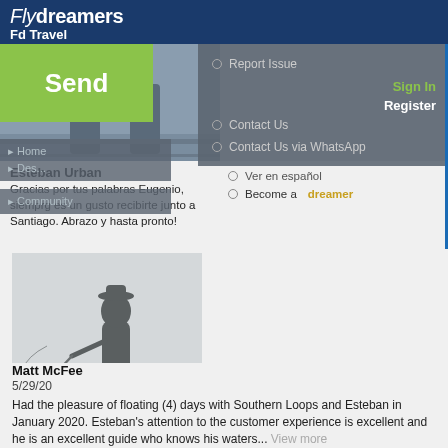Flydreamers Fd Travel
[Figure (screenshot): Website navigation overlay with green Send button, profile photo, community nav items, report issue, sign in, register, contact us links]
Esteban Urban
Gracias por tus palabras Eugenio, siempre es un gusto recibirte junto a Santiago. Abrazo y hasta pronto!
Ver en español
Become a dreamer
[Figure (illustration): Silhouette of a fly fisherman casting a rod, standing on a small mound]
Matt McFee
5/29/20
Had the pleasure of floating (4) days with Southern Loops and Esteban in January 2020. Esteban's attention to the customer experience is excellent and he is an excellent guide who knows his waters... View more